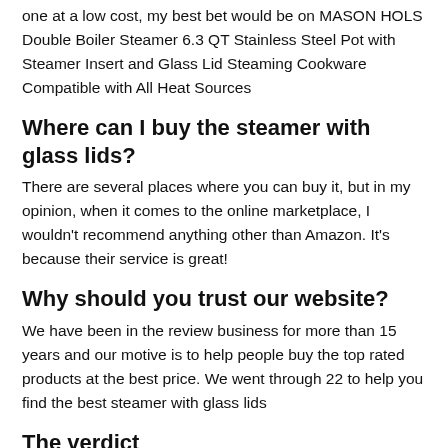one at a low cost, my best bet would be on MASON HOLS Double Boiler Steamer 6.3 QT Stainless Steel Pot with Steamer Insert and Glass Lid Steaming Cookware Compatible with All Heat Sources
Where can I buy the steamer with glass lids?
There are several places where you can buy it, but in my opinion, when it comes to the online marketplace, I wouldn't recommend anything other than Amazon. It's because their service is great!
Why should you trust our website?
We have been in the review business for more than 15 years and our motive is to help people buy the top rated products at the best price. We went through 22 to help you find the best steamer with glass lids
The verdict
We hope you liked the steamer with glass lidss that we have listed in our best list. If it was helpful, bookmark our